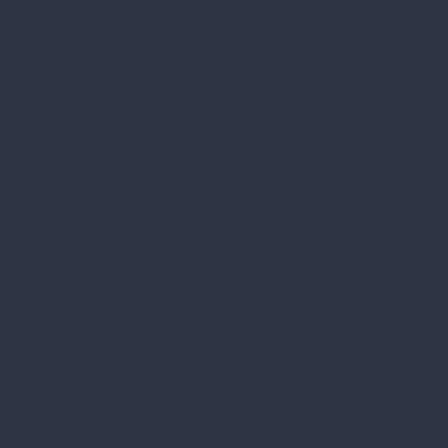[Figure (other): Solid dark navy/slate blue background filling the entire page, uniform color approximately #2c3444 with no visible text, graphics, or other content elements.]